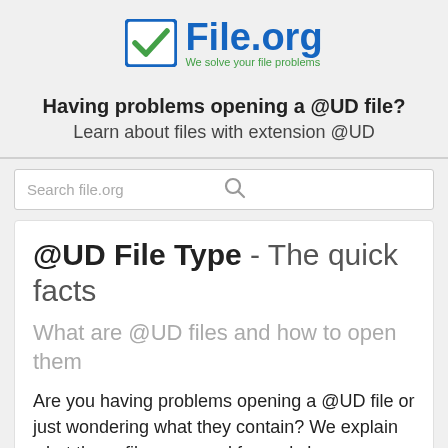[Figure (logo): File.org logo with blue checkbox icon and tagline 'We solve your file problems']
Having problems opening a @UD file?
Learn about files with extension @UD
Search file.org
@UD File Type - The quick facts
What are @UD files and how to open them
Are you having problems opening a @UD file or just wondering what they contain? We explain what these files are used for and show you